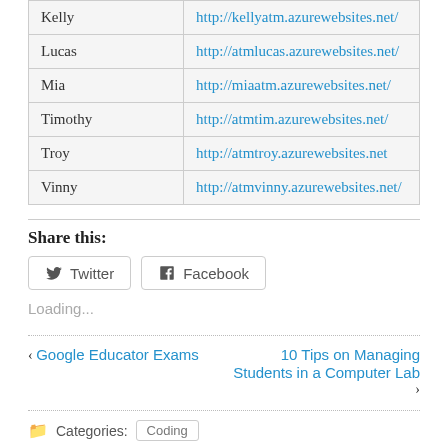|  |  |
| --- | --- |
| Kelly | http://kellyatm.azurewebsites.net/ |
| Lucas | http://atmlucas.azurewebsites.net/ |
| Mia | http://miaatm.azurewebsites.net/ |
| Timothy | http://atmtim.azurewebsites.net/ |
| Troy | http://atmtroy.azurewebsites.net |
| Vinny | http://atmvinny.azurewebsites.net/ |
Share this:
Twitter  Facebook
Loading...
‹ Google Educator Exams
10 Tips on Managing Students in a Computer Lab ›
Categories: Coding